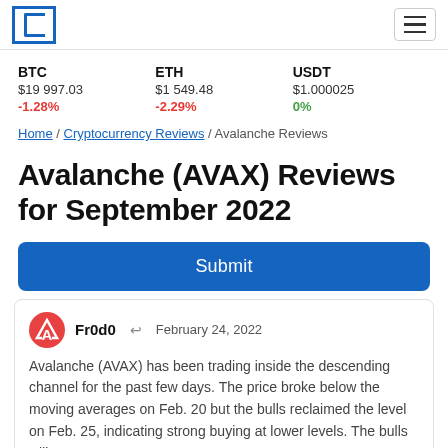Coincodex logo and hamburger menu
BTC $19 997.03 -1.28%   ETH $1 549.48 -2.29%   USDT $1.000025 0%
Home / Cryptocurrency Reviews / Avalanche Reviews
Avalanche (AVAX) Reviews for September 2022
Submit
Fr0d0  February 24, 2022
Avalanche (AVAX) has been trading inside the descending channel for the past few days. The price broke below the moving averages on Feb. 20 but the bulls reclaimed the level on Feb. 25, indicating strong buying at lower levels. The bulls will